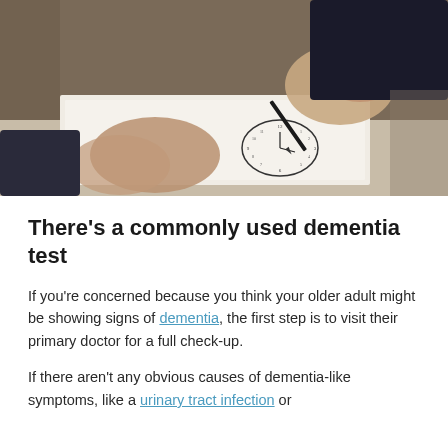[Figure (photo): Close-up photo of elderly hands drawing a clock face on paper, a dementia/cognitive test, with a pen in one hand.]
There's a commonly used dementia test
If you're concerned because you think your older adult might be showing signs of dementia, the first step is to visit their primary doctor for a full check-up.
If there aren't any obvious causes of dementia-like symptoms, like a urinary tract infection or